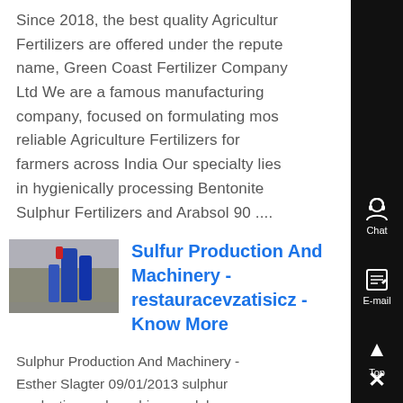Since 2018, the best quality Agriculture Fertilizers are offered under the repute name, Green Coast Fertilizer Company Ltd We are a famous manufacturing company, focused on formulating most reliable Agriculture Fertilizers for farmers across India Our specialty lies in hygienically processing Bentonite Sulphur Fertilizers and Arabsol 90 ....
[Figure (photo): Thumbnail image showing industrial machinery with blue equipment visible]
Sulfur Production And Machinery - restauracevzatisicz - Know More
Sulphur Production And Machinery - Esther Slagter 09/01/2013 sulphur production and machinery sulphur